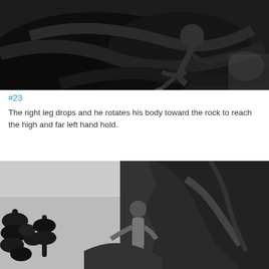[Figure (photo): Black and white photograph of a rock climber pressing against dark rocks, reaching with one hand toward a hold, body rotated toward the rock face.]
#23
The right leg drops and he rotates his body toward the rock to reach the high and far left hand hold.
[Figure (photo): Black and white photograph of a rock climber on a cliff face with cactus plants visible on the left side, climber reaching upward on the rock wall.]